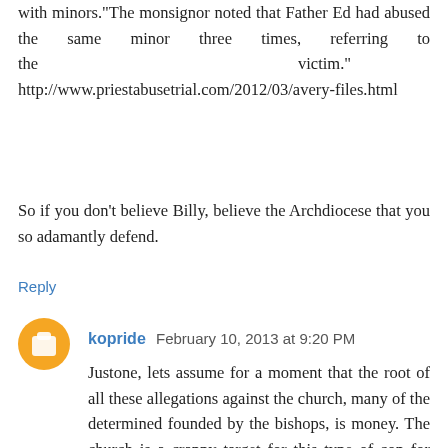with minors."The monsignor noted that Father Ed had abused the same minor three times, referring to the victim." http://www.priestabusetrial.com/2012/03/avery-files.html
So if you don't believe Billy, believe the Archdiocese that you so adamantly defend.
Reply
kopride February 10, 2013 at 9:20 PM
Justone, lets assume for a moment that the root of all these allegations against the church, many of the determined founded by the bishops, is money. The church is a crappy target for this type of con for many reasons. Unlike wealthy eccentric people in the community, priests themselves are usually judgment proof. Suing the church usually requires